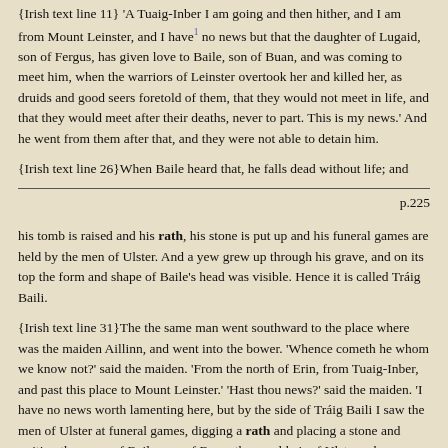{Irish text line 11} 'A Tuaig-Inber I am going and then hither, and I am from Mount Leinster, and I have¹ no news but that the daughter of Lugaid, son of Fergus, has given love to Baile, son of Buan, and was coming to meet him, when the warriors of Leinster overtook her and killed her, as druids and good seers foretold of them, that they would not meet in life, and that they would meet after their deaths, never to part. This is my news.' And he went from them after that, and they were not able to detain him.
{Irish text line 26}When Baile heard that, he falls dead without life; and
p.225
his tomb is raised and his rath, his stone is put up and his funeral games are held by the men of Ulster. And a yew grew up through his grave, and on its top the form and shape of Baile's head was visible. Hence it is called Tráig Baili.
{Irish text line 31}The the same man went southward to the place where was the maiden Aillinn, and went into the bower. 'Whence cometh he whom we know not?' said the maiden. 'From the north of Erin, from Tuaig-Inber, and past this place to Mount Leinster.' 'Hast thou news?' said the maiden. 'I have no news worth lamenting here, but by the side of Tráig Baili I saw the men of Ulster at funeral games, digging a rath and placing a stone and writing the name of Baile, son of Buan, the royal heir of Ulster, who was coming to meet a sweetheart and lady-love to whom he had given love; for it is not their fate to meet in life, not that one of